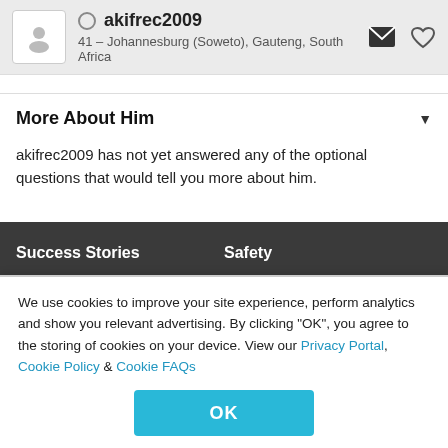akifrec2009 — 41 – Johannesburg (Soweto), Gauteng, South Africa
More About Him
akifrec2009 has not yet answered any of the optional questions that would tell you more about him.
Success Stories
Safety
Help & Info
Contact Us
We use cookies to improve your site experience, perform analytics and show you relevant advertising. By clicking "OK", you agree to the storing of cookies on your device. View our Privacy Portal, Cookie Policy & Cookie FAQs